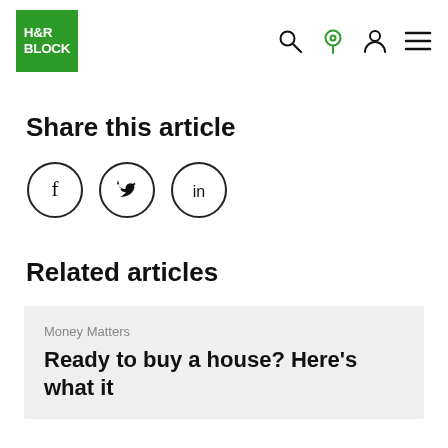[Figure (logo): H&R Block green square logo with white text]
Share this article
[Figure (infographic): Social media share icons: Facebook (f), Twitter (bird), LinkedIn (in) in circular outlines]
Related articles
Money Matters
Ready to buy a house? Here’s what it